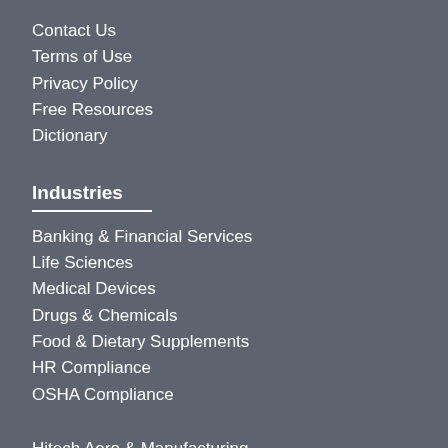Contact Us
Terms of Use
Privacy Policy
Free Resources
Dictionary
Industries
Banking & Financial Services
Life Sciences
Medical Devices
Drugs & Chemicals
Food & Dietary Supplements
HR Compliance
OSHA Compliance
Hitech Aero & Manufacturing
Energy & Utiliti…